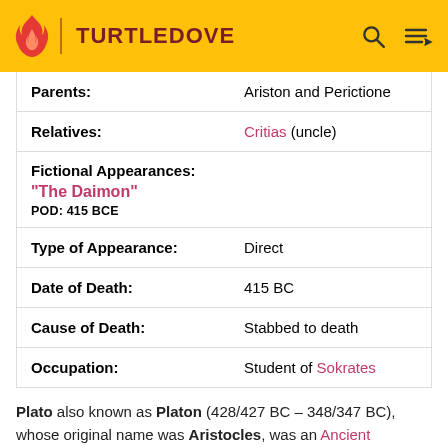TURTLEDOVE
| Parents: | Ariston and Perictione |
| Relatives: | Critias (uncle) |
| Fictional Appearances: |  |
| "The Daimon" |  |
| POD: 415 BCE |  |
| Type of Appearance: | Direct |
| Date of Death: | 415 BC |
| Cause of Death: | Stabbed to death |
| Occupation: | Student of Sokrates |
Plato also known as Platon (428/427 BC – 348/347 BC), whose original name was Aristocles, was an Ancient